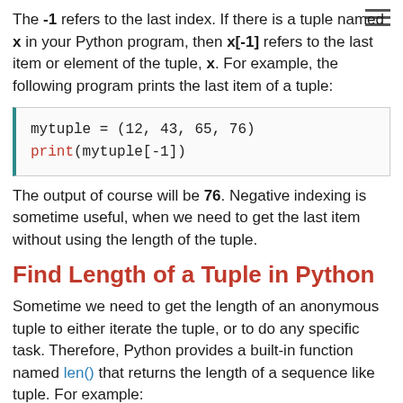The -1 refers to the last index. If there is a tuple named x in your Python program, then x[-1] refers to the last item or element of the tuple, x. For example, the following program prints the last item of a tuple:
[Figure (screenshot): Code block showing: mytuple = (12, 43, 65, 76) and print(mytuple[-1])]
The output of course will be 76. Negative indexing is sometime useful, when we need to get the last item without using the length of the tuple.
Find Length of a Tuple in Python
Sometime we need to get the length of an anonymous tuple to either iterate the tuple, or to do any specific task. Therefore, Python provides a built-in function named len() that returns the length of a sequence like tuple. For example: